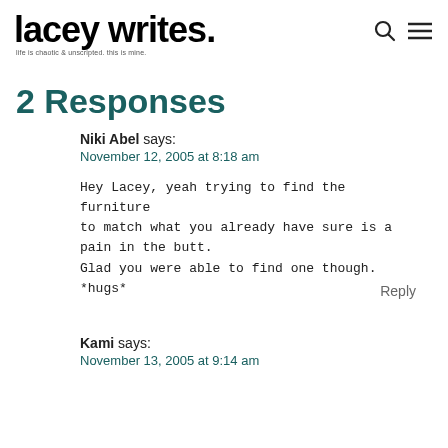lacey writes. life is chaotic & unscripted. this is mine.
2 Responses
Niki Abel says:
November 12, 2005 at 8:18 am
Hey Lacey, yeah trying to find the furniture to match what you already have sure is a pain in the butt. Glad you were able to find one though. *hugs*
Kami says:
November 13, 2005 at 9:14 am